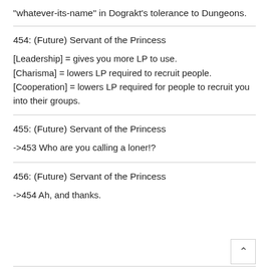"whatever-its-name" in Dograkt's tolerance to Dungeons.
454: (Future) Servant of the Princess
[Leadership] = gives you more LP to use.
[Charisma] = lowers LP required to recruit people.
[Cooperation] = lowers LP required for people to recruit you into their groups.
455: (Future) Servant of the Princess
->453 Who are you calling a loner!?
456: (Future) Servant of the Princess
->454 Ah, and thanks.